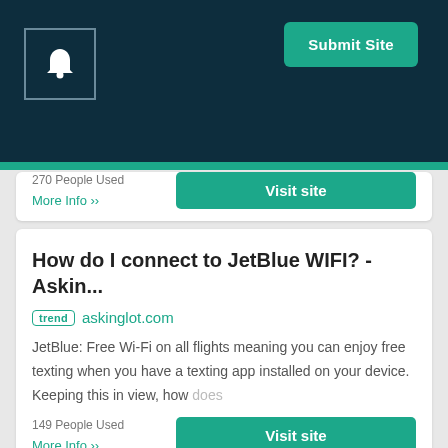[Figure (other): Dark teal header with bell notification icon and Submit Site button]
270 People Used
More Info »
How do I connect to JetBlue WIFI? - Askin...
trend askinglot.com
JetBlue: Free Wi-Fi on all flights meaning you can enjoy free texting when you have a texting app installed on your device. Keeping this in view, how does
149 People Used
More Info »
FlyFi watches your flight's internet
top flyfi.app
Too often flight internet's are unusable but you don't